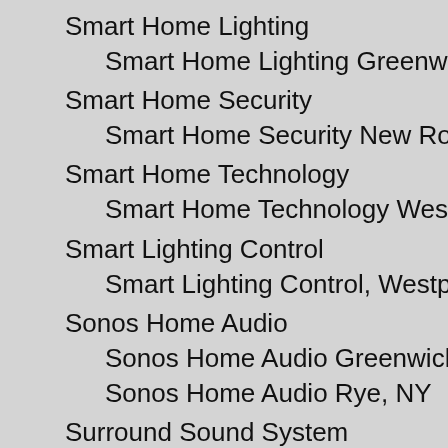Smart Home Lighting
Smart Home Lighting Greenwich, CT
Smart Home Security
Smart Home Security New Rochelle NY
Smart Home Technology
Smart Home Technology Westport, CT
Smart Lighting Control
Smart Lighting Control, Westport, CT
Sonos Home Audio
Sonos Home Audio Greenwich CT
Sonos Home Audio Rye, NY
Surround Sound System
Surround Sound System Darien CT
TV Displays
TV Displays Fairfield County CT
Voice Control
Voice Control Chappaqua, NY
Voice Controlled Light